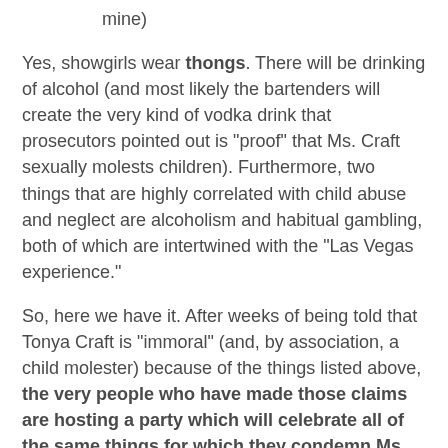mine)
Yes, showgirls wear thongs. There will be drinking of alcohol (and most likely the bartenders will create the very kind of vodka drink that prosecutors pointed out is "proof" that Ms. Craft sexually molests children). Furthermore, two things that are highly correlated with child abuse and neglect are alcoholism and habitual gambling, both of which are intertwined with the "Las Vegas experience."
So, here we have it. After weeks of being told that Tonya Craft is "immoral" (and, by association, a child molester) because of the things listed above, the very people who have made those claims are hosting a party which will celebrate all of the same things for which they condemn Ms. Craft. This is not an accident, people, nor an embarrassing coincidence. This party was planned at the same time that the prosecution -- working hand-in-hand with Brian House and the CAC -- was planning to smear Ms. Craft.
No, they are sending all of you a message: They will do what